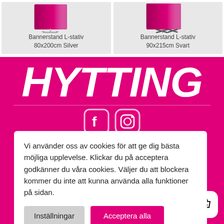[Figure (photo): Bannerstand L-stativ 80x200cm Silver product image - banner display with silver stand]
Bannerstand L-stativ
80x200cm Silver
[Figure (photo): Bannerstand L-stativ 90x215cm Svart product image - banner display with black stand]
Bannerstand L-stativ
90x215cm Svart
HYTTING
[Figure (illustration): Facebook and Instagram social media icons in rounded square style, white outline on magenta background]
Vi använder oss av cookies för att ge dig bästa möjliga upplevelse. Klickar du på acceptera godkänner du våra cookies. Väljer du att blockera kommer du inte att kunna använda alla funktioner på sidan.
Inställningar
Acceptera alla